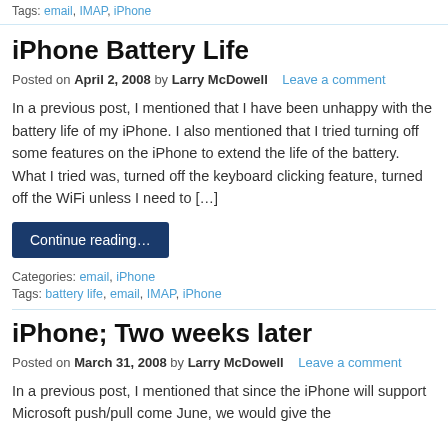Tags: email, IMAP, iPhone
iPhone Battery Life
Posted on April 2, 2008 by Larry McDowell   Leave a comment
In a previous post, I mentioned that I have been unhappy with the battery life of my iPhone. I also mentioned that I tried turning off some features on the iPhone to extend the life of the battery. What I tried was, turned off the keyboard clicking feature, turned off the WiFi unless I need to […]
Continue reading…
Categories: email, iPhone
Tags: battery life, email, IMAP, iPhone
iPhone; Two weeks later
Posted on March 31, 2008 by Larry McDowell   Leave a comment
In a previous post, I mentioned that since the iPhone will support Microsoft push/pull come June, we would give the